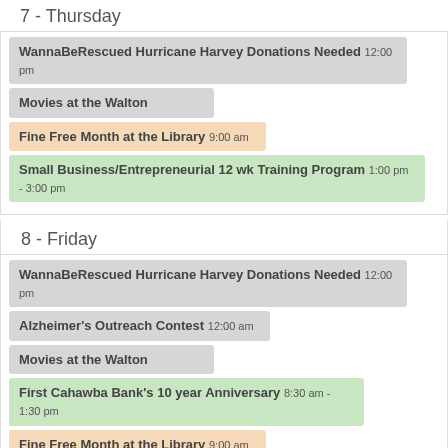7 - Thursday
WannaBeRescued Hurricane Harvey Donations Needed 12:00 pm
Movies at the Walton
Fine Free Month at the Library 9:00 am
Small Business/Entrepreneurial 12 wk Training Program 1:00 pm - 3:00 pm
8 - Friday
WannaBeRescued Hurricane Harvey Donations Needed 12:00 pm
Alzheimer's Outreach Contest 12:00 am
Movies at the Walton
First Cahawba Bank's 10 year Anniversary 8:30 am - 1:30 pm
Fine Free Month at the Library 9:00 am
YMCA Kid's Night Out 6:00 pm - 8:30 pm
9 - Saturday